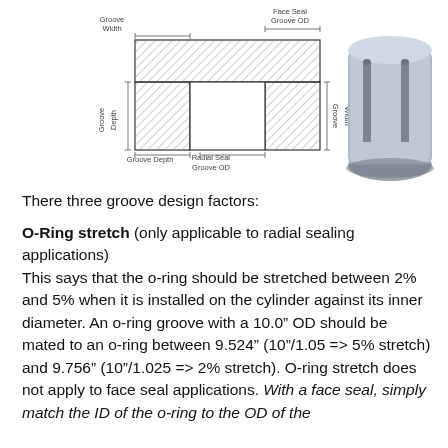[Figure (engineering-diagram): Technical cross-section diagram showing groove design dimensions: Groove Width, Face Seal Groove OD, Groove Depth, Radial Seal Groove OD, and a 3D rendered image of an o-ring groove component.]
There three groove design factors:
O-Ring stretch (only applicable to radial sealing applications)
This says that the o-ring should be stretched between 2% and 5% when it is installed on the cylinder against its inner diameter.  An o-ring groove with a 10.0” OD should be mated to an o-ring between 9.524” (10”/1.05 => 5% stretch) and 9.756” (10”/1.025 => 2% stretch).  O-ring stretch does not apply to face seal applications.  With a face seal, simply match the ID of the o-ring to the OD of the o-ring groove.